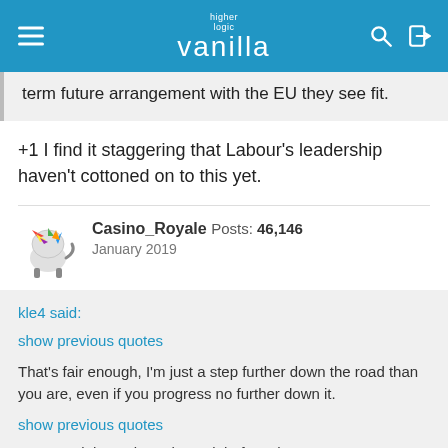higher logic vanilla
term future arrangement with the EU they see fit.
+1 I find it staggering that Labour's leadership haven't cottoned on to this yet.
Casino_Royale Posts: 46,146
January 2019
kle4 said:
show previous quotes
That's fair enough, I'm just a step further down the road than you are, even if you progress no further down it.
show previous quotes
Fear. It might work, or they might face that rarest